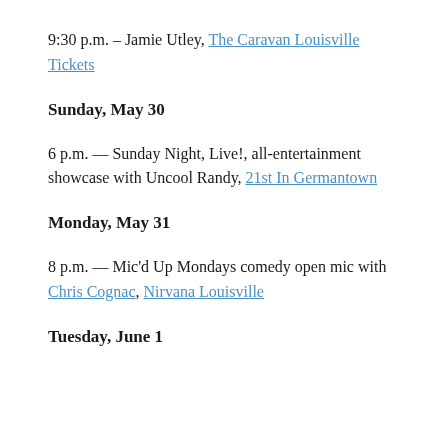9:30 p.m. – Jamie Utley, The Caravan Louisville Tickets
Sunday, May 30
6 p.m. — Sunday Night, Live!, all-entertainment showcase with Uncool Randy, 21st In Germantown
Monday, May 31
8 p.m. — Mic'd Up Mondays comedy open mic with Chris Cognac, Nirvana Louisville
Tuesday, June 1